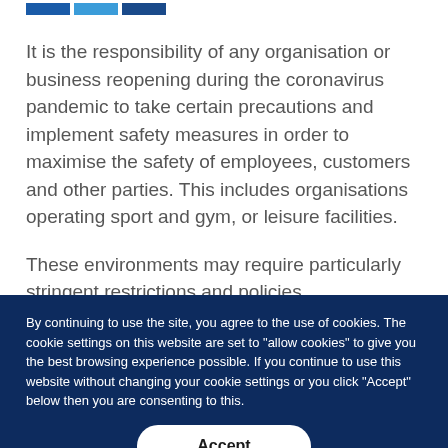[Figure (other): Three horizontal colored bars (dark blue, light blue, dark navy) serving as a decorative header element]
It is the responsibility of any organisation or business reopening during the coronavirus pandemic to take certain precautions and implement safety measures in order to maximise the safety of employees, customers and other parties. This includes organisations operating sport and gym, or leisure facilities.
These environments may require particularly stringent restrictions and policies. Management
By continuing to use the site, you agree to the use of cookies. The cookie settings on this website are set to "allow cookies" to give you the best browsing experience possible. If you continue to use this website without changing your cookie settings or you click "Accept" below then you are consenting to this.
Accept